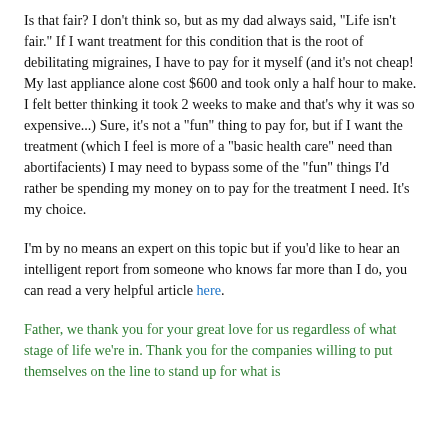Is that fair? I don't think so, but as my dad always said, "Life isn't fair." If I want treatment for this condition that is the root of debilitating migraines, I have to pay for it myself (and it's not cheap! My last appliance alone cost $600 and took only a half hour to make. I felt better thinking it took 2 weeks to make and that's why it was so expensive...) Sure, it's not a "fun" thing to pay for, but if I want the treatment (which I feel is more of a "basic health care" need than abortifacients) I may need to bypass some of the "fun" things I'd rather be spending my money on to pay for the treatment I need. It's my choice.
I'm by no means an expert on this topic but if you'd like to hear an intelligent report from someone who knows far more than I do, you can read a very helpful article here.
Father, we thank you for your great love for us regardless of what stage of life we're in. Thank you for the companies willing to put themselves on the line to stand up for what is